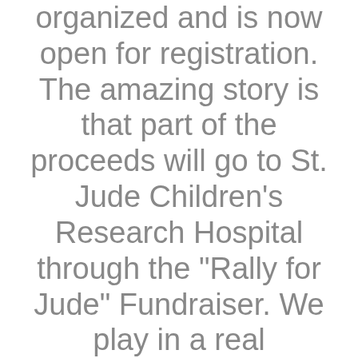organized and is now open for registration. The amazing story is that part of the proceeds will go to St. Jude Children's Research Hospital through the "Rally for Jude" Fundraiser. We play in a real sanctioned USTA tournament, and at the same time, we help kids fight cancer.